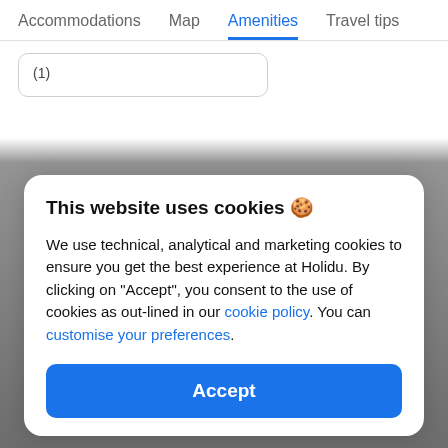Accommodations  Map  Amenities  Travel tips
(1)
This website uses cookies 🍪
We use technical, analytical and marketing cookies to ensure you get the best experience at Holidu. By clicking on "Accept", you consent to the use of cookies as out-lined in our cookie policy. You can customise your preferences.
Accept